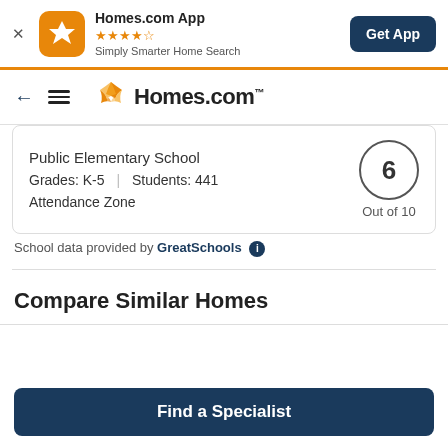[Figure (screenshot): Homes.com App banner with orange icon, 4.5 star rating, tagline 'Simply Smarter Home Search', and 'Get App' button]
[Figure (logo): Homes.com navigation bar with back arrow, hamburger menu, and Homes.com logo]
Public Elementary School
Grades: K-5 | Students: 441
Attendance Zone
6 Out of 10
School data provided by GreatSchools i
Compare Similar Homes
Find a Specialist